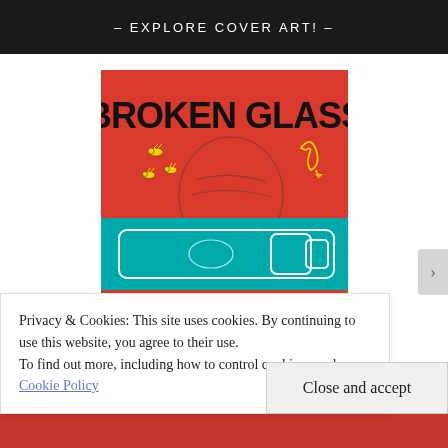– EXPLORE COVER ART! –
[Figure (illustration): Book cover for 'Broken Glass' — red background with large bold black text at top reading BROKEN GLASS, a teal horizontal band across the middle showing a white-outlined wine bottle lying on its side, yellow illustrated bees/butterflies on the left, yellow decorative flourish on the right, and sketched face at the bottom.]
Privacy & Cookies: This site uses cookies. By continuing to use this website, you agree to their use.
To find out more, including how to control cookies, see here:
Cookie Policy
Close and accept